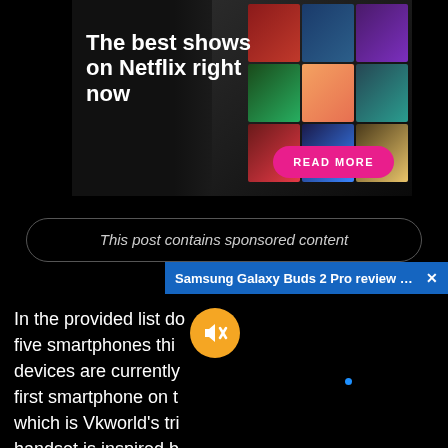[Figure (screenshot): Netflix advertisement banner showing a hand holding a smartphone displaying Netflix thumbnails, with text 'The best shows on Netflix right now' and a pink 'READ MORE' button]
This post contains sponsored content
Samsung Galaxy Buds 2 Pro review | Gr...
In the provided list do five smartphones thi devices are currently first smartphone on t which is Vkworld's tri handset is inspired b